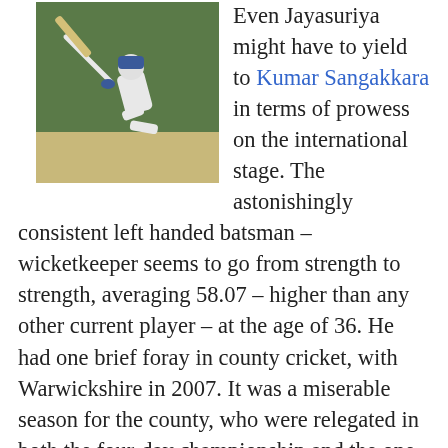[Figure (photo): Cricket batsman in white kit playing a shot, diving low, on a green pitch]
Even Jayasuriya might have to yield to Kumar Sangakkara in terms of prowess on the international stage. The astonishingly consistent left handed batsman – wicketkeeper seems to go from strength to strength, averaging 58.07 – higher than any other current player – at the age of 36. He had one brief foray in county cricket, with Warwickshire in 2007. It was a miserable season for the county, who were relegated in both the four-day championship and the one-day league, but nobody could complain about Sangkkara. He averaged almost fifty in seven first-class games. His 149 against Durhan in his first game for the county was described by